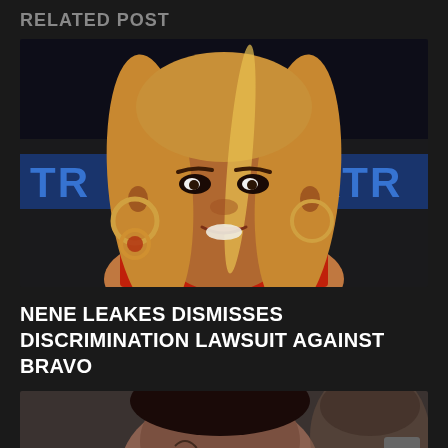RELATED POST
[Figure (photo): Portrait of NeNe Leakes, a woman with long blonde hair and large hoop earrings wearing a red outfit, photographed against a dark background with blue text reading TR...KTR partially visible]
NENE LEAKES DISMISSES DISCRIMINATION LAWSUIT AGAINST BRAVO
[Figure (photo): Partial photo of a person with dark hair and face tattoos visible at the bottom of the page]